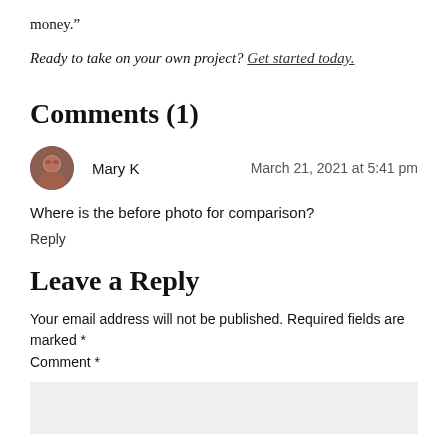money.”
Ready to take on your own project? Get started today.
Comments (1)
Mary K March 21, 2021 at 5:41 pm
Where is the before photo for comparison?
Reply
Leave a Reply
Your email address will not be published. Required fields are marked *
Comment *